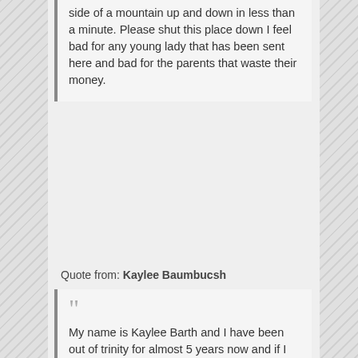side of a mountain up and down in less than a minute. Please shut this place down I feel bad for any young lady that has been sent here and bad for the parents that waste their money.
Quote from: Kaylee Baumbucsh
My name is Kaylee Barth and I have been out of trinity for almost 5 years now and if I was able I would rate that place a zero because all of the trauma that I was put through along with the batch of girls that was there. The girls & I are all in communication till this day and the amount of PTSD that has come along with their program has given not only me issues but a lot of the other girls. Those people should be accountable...